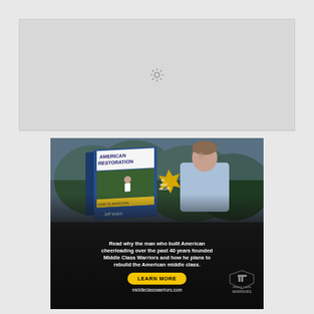[Figure (other): Loading placeholder box with spinning loader icon, light gray background]
[Figure (other): Advertisement for 'American Restoration' book by Jeff Webb (#1 Best Seller). Shows man with arms crossed in white shirt next to book cover. Text reads: 'Read why the man who built American cheerleading over the past 40 years founded Middle Class Warriors and how he plans to rebuild the American middle class.' Yellow 'LEARN MORE' button. URL: middleclasswarriors.com. Middle Class Warriors logo in bottom right.]